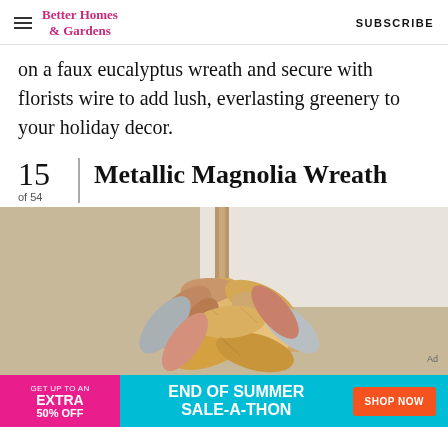Better Homes & Gardens | SUBSCRIBE
on a faux eucalyptus wreath and secure with florists wire to add lush, everlasting greenery to your holiday decor.
15 of 54 | Metallic Magnolia Wreath
[Figure (photo): A metallic magnolia wreath with gold, rose gold, and silver painted magnolia leaves hanging on a wall.]
[Figure (infographic): Advertisement banner: pink section says GET UP TO AN EXTRA 50% OFF, teal section says END OF SUMMER SALE-A-THON with an orange SHOP NOW button.]